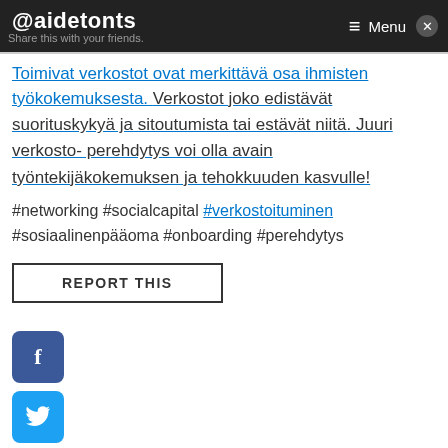@aidetonts | Menu
Share this with your friends.
Toimivat verkostot ovat merkittävä osa ihmisten työkokemuksesta. Verkostot joko edistävät suorituskykyä ja sitoutumista tai estävät niitä. Juuri verkosto- perehdytys voi olla avain työntekijäkokemuksen ja tehokkuuden kasvulle!
#networking #socialcapital #verkostoituminen #sosiaalinenpääoma #onboarding #perehdytys
REPORT THIS
[Figure (infographic): Social media sharing icons: Facebook (blue), Twitter (cyan), LinkedIn (blue), Email (grey), and partially visible green button at bottom]